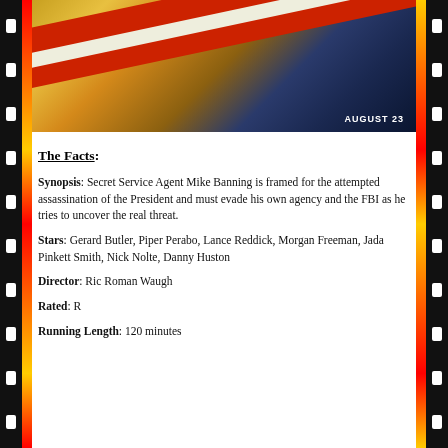[Figure (photo): Movie poster showing a silhouetted figure in action against a dramatic American flag background with golden/orange lighting and the text 'AUGUST 23' in the bottom right corner]
The Facts:
Synopsis: Secret Service Agent Mike Banning is framed for the attempted assassination of the President and must evade his own agency and the FBI as he tries to uncover the real threat.
Stars: Gerard Butler, Piper Perabo, Lance Reddick, Morgan Freeman, Jada Pinkett Smith, Nick Nolte, Danny Huston
Director: Ric Roman Waugh
Rated: R
Running Length: 120 minutes